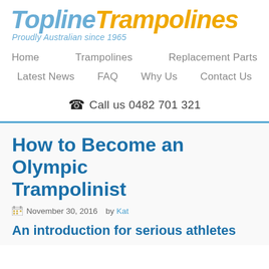[Figure (logo): Topline Trampolines logo with tagline 'Proudly Australian since 1965']
Home   Trampolines   Replacement Parts   Latest News   FAQ   Why Us   Contact Us   ☎ Call us 0482 701 321
How to Become an Olympic Trampolinist
November 30, 2016   by Kat
An introduction for serious athletes